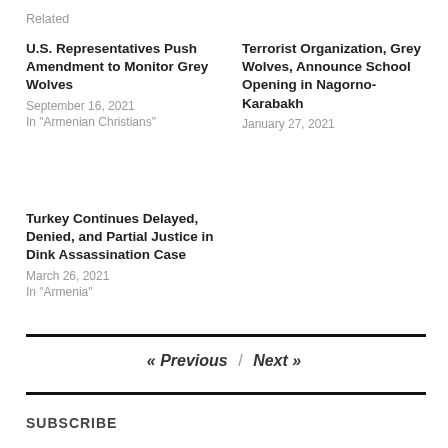Related
U.S. Representatives Push Amendment to Monitor Grey Wolves
September 16, 2021
In "Armenian Christians"
Terrorist Organization, Grey Wolves, Announce School Opening in Nagorno-Karabakh
January 27, 2021
Turkey Continues Delayed, Denied, and Partial Justice in Dink Assassination Case
March 26, 2021
In "Armenia"
« Previous / Next »
SUBSCRIBE